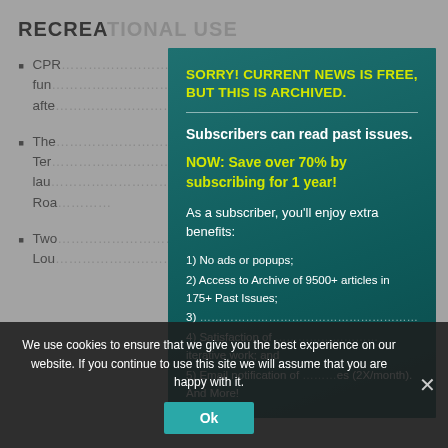RECREATIONAL USE
CPR ... projects funded ... from the after ... ter;
The ... Terminal ... boat launch ... Island Road ...
Two ... Lou ... Mississippi ... Campaign ... camp ... Creative ... uses
[Figure (screenshot): Modal dialog overlay with teal/green background showing subscription message: 'SORRY! CURRENT NEWS IS FREE, BUT THIS IS ARCHIVED.' with divider, then 'Subscribers can read past issues.' in white bold, 'NOW: Save over 70% by subscribing for 1 year!' in yellow bold, 'As a subscriber, you’ll enjoy extra benefits:' in white, and list items: 1) No ads or popups; 2) Access to Archive of 9500+ articles in 175+ Past Issues; 3) ...; 4) Satisfaction of ... iterative work; and 5) Email notification of ... es (2X/month). And More!]
We use cookies to ensure that we give you the best experience on our website. If you continue to use this site we will assume that you are happy with it.
Ok